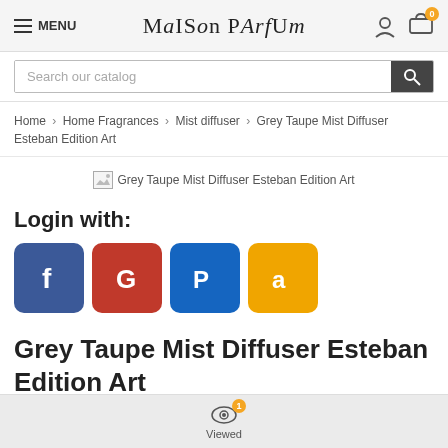MENU | Maison PArfUm
Search our catalog
Home > Home Fragrances > Mist diffuser > Grey Taupe Mist Diffuser Esteban Edition Art
[Figure (photo): Broken image placeholder for Grey Taupe Mist Diffuser Esteban Edition Art]
Login with:
[Figure (infographic): Social login buttons: Facebook (blue), Google (red), PayPal (dark blue), Amazon (orange/gold)]
Grey Taupe Mist Diffuser Esteban Edition Art
Viewed (1)